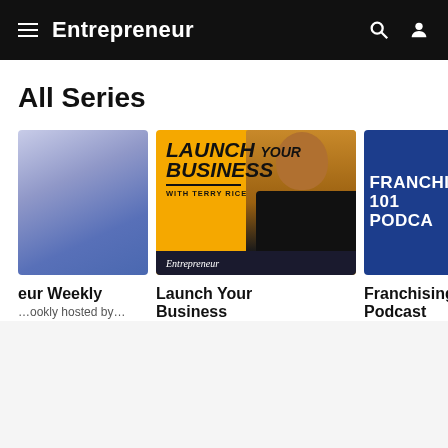Entrepreneur
All Series
[Figure (screenshot): Purple-blue gradient square podcast thumbnail (first card, partially cropped on left)]
[Figure (screenshot): Yellow podcast card: LAUNCH YOUR BUSINESS WITH TERRY RICE, featuring a man in black t-shirt on yellow background, Entrepreneur branding at bottom]
[Figure (screenshot): Blue podcast card: FRANCHISING 101 PODCAST text on dark blue background (partially cropped on right)]
eur Weekly
…ookly hosted by…
Launch Your Business
Franchising Podcast